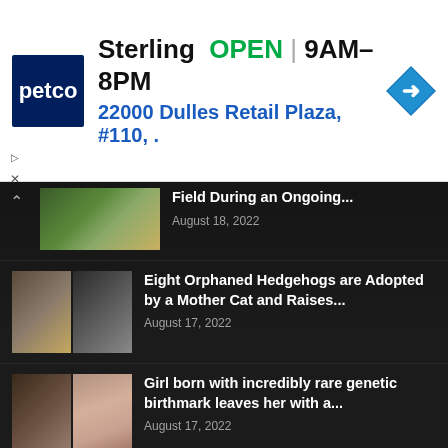[Figure (screenshot): Petco advertisement banner showing Sterling store open 9AM-8PM at 22000 Dulles Retail Plaza #110]
Field During an Ongoing...
August 18, 2022
Eight Orphaned Hedgehogs are Adopted by a Mother Cat and Raises...
August 17, 2022
Girl born with incredibly rare genetic birthmark leaves her with a...
August 17, 2022
POPULAR POSTS
Raised for 26 years, this buffalo waited to meet his owner...